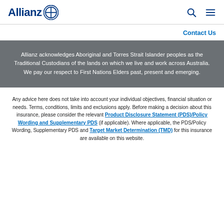[Figure (logo): Allianz logo with blue text and circular emblem]
Contact Us
Allianz acknowledges Aboriginal and Torres Strait Islander peoples as the Traditional Custodians of the lands on which we live and work across Australia. We pay our respect to First Nations Elders past, present and emerging.
Any advice here does not take into account your individual objectives, financial situation or needs. Terms, conditions, limits and exclusions apply. Before making a decision about this insurance, please consider the relevant Product Disclosure Statement (PDS)/Policy Wording and Supplementary PDS (if applicable). Where applicable, the PDS/Policy Wording, Supplementary PDS and Target Market Determination (TMD) for this insurance are available on this website.